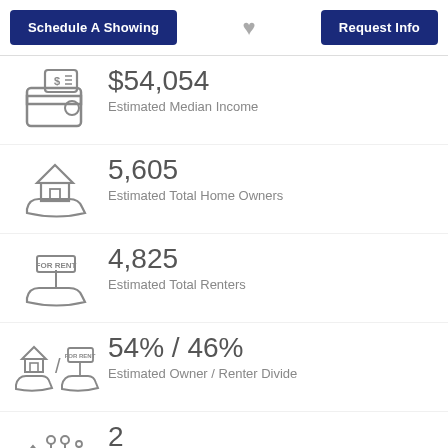Schedule A Showing | Request Info
$54,054
Estimated Median Income
5,605
Estimated Total Home Owners
4,825
Estimated Total Renters
54% / 46%
Estimated Owner / Renter Divide
2
Estimated Average Household Size